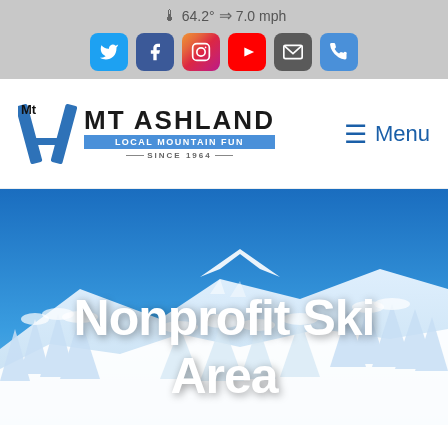64.2° ⇒ 7.0 mph
[Figure (screenshot): Social media icon buttons: Twitter, Facebook, Instagram, YouTube, Email, Phone]
[Figure (logo): Mt Ashland logo with stylized letter A in blue, text MT ASHLAND, LOCAL MOUNTAIN FUN SINCE 1964]
Menu
[Figure (photo): Snow-covered mountain ski area with blue sky, frosted pine trees, and ski runs visible]
Nonprofit Ski Area